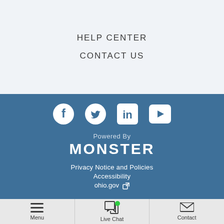HELP CENTER
CONTACT US
[Figure (logo): Social media icons: Facebook, Twitter, LinkedIn, YouTube (white icons on blue background)]
Powered By
MONSTER
Privacy Notice and Policies
Accessibility
ohio.gov
Menu | Live Chat | Contact